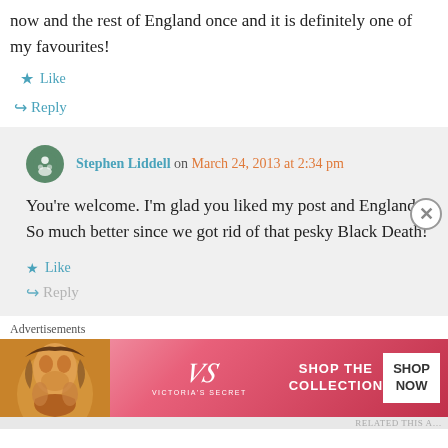now and the rest of England once and it is definitely one of my favourites!
★ Like
↪ Reply
Stephen Liddell on March 24, 2013 at 2:34 pm
You're welcome. I'm glad you liked my post and England. So much better since we got rid of that pesky Black Death!
★ Like
↪ Reply
Advertisements
[Figure (other): Victoria's Secret advertisement banner: woman's face on left, VS logo and 'VICTORIAS SECRET' text in center, 'SHOP THE COLLECTION' text, and 'SHOP NOW' button on right, pink/red background]